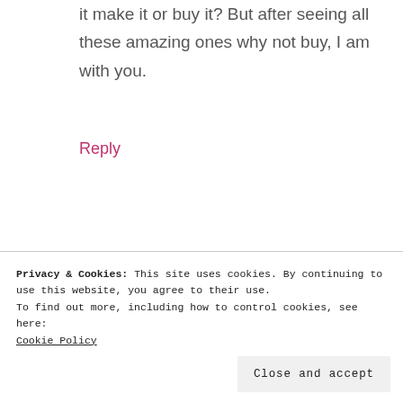I keep saying that should I make it or buy it make it or buy it? But after seeing all these amazing ones why not buy, I am with you.
Reply
Privacy & Cookies: This site uses cookies. By continuing to use this website, you agree to their use. To find out more, including how to control cookies, see here: Cookie Policy
Close and accept